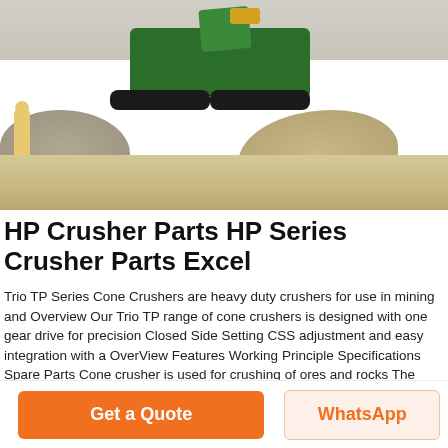[Figure (photo): Outdoor photo of a green tracked cone crusher/screening machine operating at a gravel/mining site with piles of crushed stone and a worker visible on the left.]
HP Crusher Parts HP Series Crusher Parts Excel
Trio TP Series Cone Crushers are heavy duty crushers for use in mining and Overview Our Trio TP range of cone crushers is designed with one gear drive for precision Closed Side Setting CSS adjustment and easy integration with a OverView Features Working Principle Specifications Spare Parts Cone crusher is used for crushing of ores and rocks The safety spring system is the header int hp Excel Replacement Parts for HP Series Cone Crushers Cone Crushers thumb cone and gyratory crusher components overview Components
[Figure (photo): Partial view of a second outdoor photo showing sky and ground, partially cut off.]
Get a Quote
WhatsApp